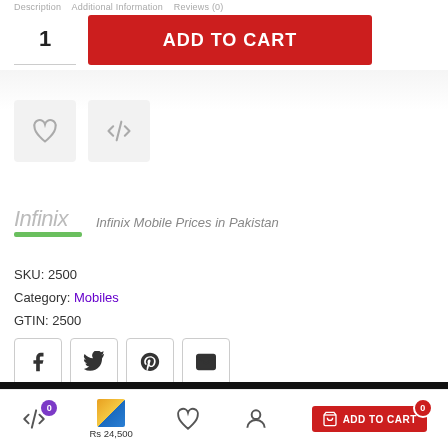Description  Additional Information  Reviews (0)
[Figure (screenshot): Product page with quantity input showing '1' and red ADD TO CART button]
[Figure (screenshot): Two icon buttons: heart (wishlist) and compare arrows]
[Figure (logo): Infinix brand logo with green underline bar and text 'Infinix Mobile Prices in Pakistan']
SKU: 2500
Category: Mobiles
GTIN: 2500
[Figure (screenshot): Social share buttons: Facebook, Twitter, Pinterest, Email]
[Figure (screenshot): Bottom navigation bar with compare (badge 0), wishlist, account, and cart (badge 0) icons. Product thumbnail and price Rs 24,500 visible. ADD TO CART button.]